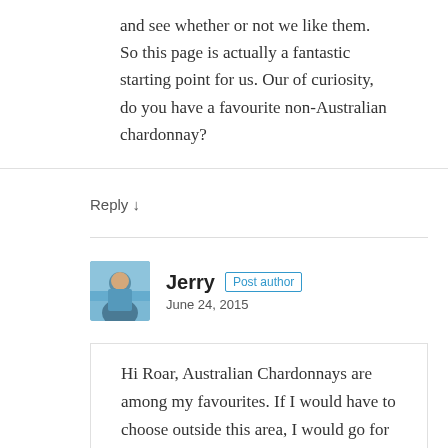and see whether or not we like them. So this page is actually a fantastic starting point for us. Our of curiosity, do you have a favourite non-Australian chardonnay?
Reply ↓
Jerry  Post author
June 24, 2015
Hi Roar, Australian Chardonnays are among my favourites. If I would have to choose outside this area, I would go for a Napa Valley, California Chardonnay, a French Meursault or a Chile one from the Limari Valley. By the way, I have reviewed them all. Just go to my page listing all the reviews here. I hope you find what you are looking for. If you have any more questions, just